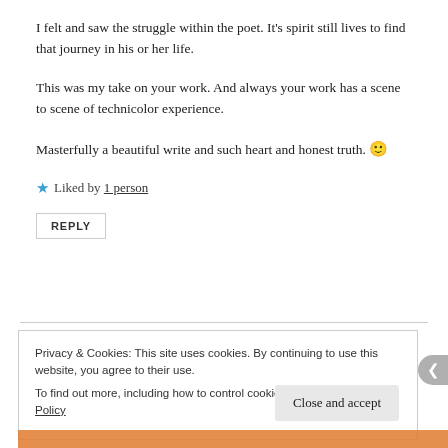I felt and saw the struggle within the poet. It's spirit still lives to find that journey in his or her life.
This was my take on your work. And always your work has a scene to scene of technicolor experience.
Masterfully a beautiful write and such heart and honest truth. 🙂
★ Liked by 1 person
REPLY
Privacy & Cookies: This site uses cookies. By continuing to use this website, you agree to their use.
To find out more, including how to control cookies, see here: Cookie Policy
Close and accept